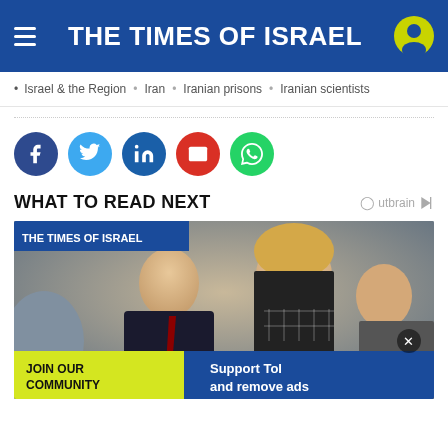THE TIMES OF ISRAEL
Israel & the Region  •  Iran  •  Iranian prisons  •  Iranian scientists
[Figure (infographic): Social share buttons: Facebook (dark blue), Twitter (light blue), LinkedIn (dark blue), Email (red), WhatsApp (green)]
WHAT TO READ NEXT
[Figure (photo): Photo of two people at a formal event, with The Times of Israel badge overlay and a Join Our Community / Support ToI and remove ads advertisement bar at the bottom]